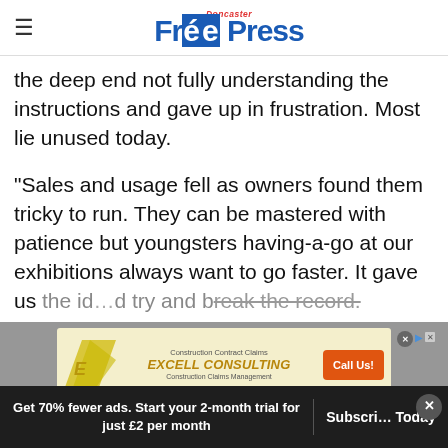Doncaster Free Press
the deep end not fully understanding the instructions and gave up in frustration. Most lie unused today.
"Sales and usage fell as owners found them tricky to run. They can be mastered with patience but youngsters having-a-go at our exhibitions always want to go faster. It gave us the id... d try and break the record.
[Figure (infographic): Advertisement banner for EXCELL CONSULTING - Construction Contract Claims, Construction Claims Management, with a Call Us! orange button]
Get 70% fewer ads. Start your 2-month trial for just £2 per month | Subscribe Today